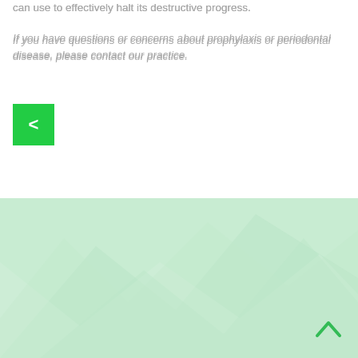can use to effectively halt its destructive progress.
If you have questions or concerns about prophylaxis or periodontal disease, please contact our practice.
[Figure (other): Green square back navigation button with left arrow (<)]
[Figure (other): Light green geometric polygon background footer section with upward chevron navigation button]